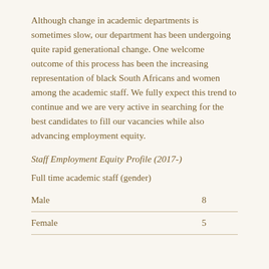Although change in academic departments is sometimes slow, our department has been undergoing quite rapid generational change. One welcome outcome of this process has been the increasing representation of black South Africans and women among the academic staff. We fully expect this trend to continue and we are very active in searching for the best candidates to fill our vacancies while also advancing employment equity.
Staff Employment Equity Profile (2017-)
Full time academic staff (gender)
|  |  |
| --- | --- |
| Male | 8 |
| Female | 5 |